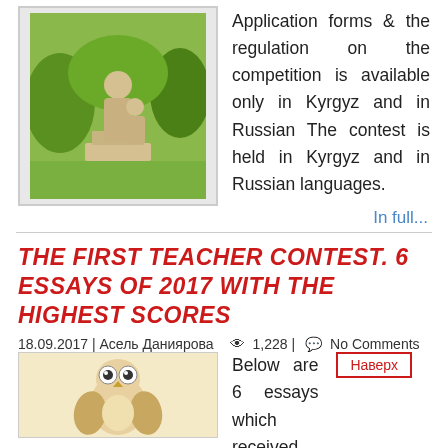[Figure (photo): Stone statue of a teacher and child in a park with green trees]
Application forms & the regulation on the competition is available only in Kyrgyz and in Russian The contest is held in Kyrgyz and in Russian languages.
In full...
THE FIRST TEACHER CONTEST. 6 ESSAYS OF 2017 WITH THE HIGHEST SCORES
18.09.2017 | Асель Даниярова   👁 1,228 |  💬 No Comments
Наверх
[Figure (illustration): Cartoon illustration of an owl sitting, on a light yellow background]
Below are 6 essays which received the highest scores by the